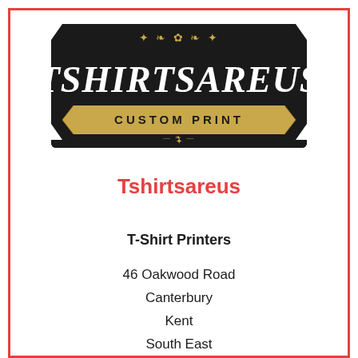[Figure (logo): Tshirtsareus Custom Print logo — black rectangular badge with decorative scroll ornaments, large white serif text 'TSHIRTSAREUS' and a gold banner reading 'CUSTOM PRINT']
Tshirtsareus
T-Shirt Printers
46 Oakwood Road
Canterbury
Kent
South East
CT2 0LX